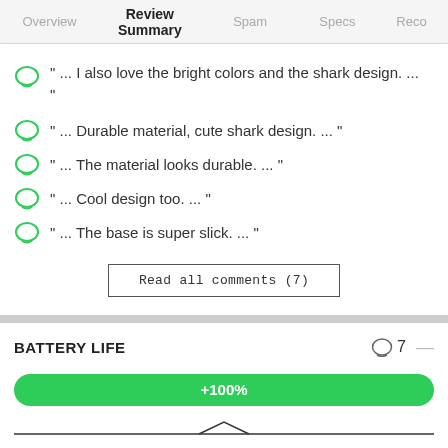Overview  Review Summary  Spam  Specs  Reco
" ...  I also love the bright colors and the shark design.  ... "
" ...  Durable material, cute shark design.  ...  "
" ...  The material looks durable.  ...  "
" ...  Cool design too.  ...  "
" ...  The base is super slick.  ...  "
Read all comments (7)
BATTERY LIFE
[Figure (infographic): +100% green positive sentiment bar for Battery Life section]
[Figure (continuous-plot): Line chart stub at bottom of page showing a small peak in the center]